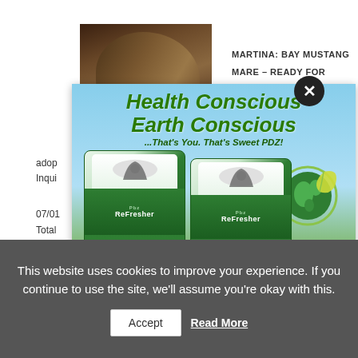MARTINA: BAY MUSTANG
MARE – READY FOR
SE
d in
adop
Inqui
lo...
07/01
Total
Locat
CA
Bree
[Figure (photo): Bay mustang horse photograph]
[Figure (infographic): Sweet PDZ advertisement showing two product bags (PDZ Refresher) with text: Health Conscious Earth Conscious ...That's You. That's Sweet PDZ! USA Made | Retailers Everywhere | www.sweetpdz.com]
This website uses cookies to improve your experience. If you continue to use the site, we'll assume you're okay with this.
Accept
Read More